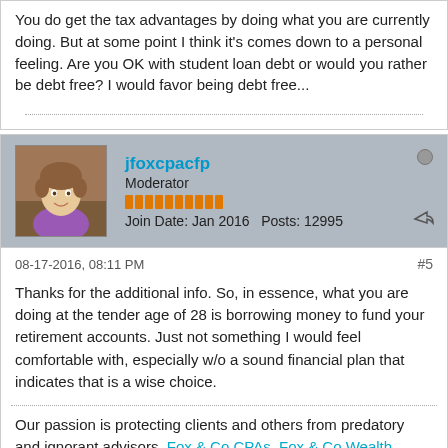You do get the tax advantages by doing what you are currently doing. But at some point I think it's comes down to a personal feeling. Are you OK with student loan debt or would you rather be debt free? I would favor being debt free...
jfoxcpacfp
Moderator
Join Date: Jan 2016   Posts: 12995
08-17-2016, 08:11 PM
#5
Thanks for the additional info. So, in essence, what you are doing at the tender age of 28 is borrowing money to fund your retirement accounts. Just not something I would feel comfortable with, especially w/o a sound financial plan that indicates that is a wise choice.
Our passion is protecting clients and others from predatory and ignorant advisors. Fox & Co CPAs, Fox & Co Wealth Mgmt. 270-247-6087